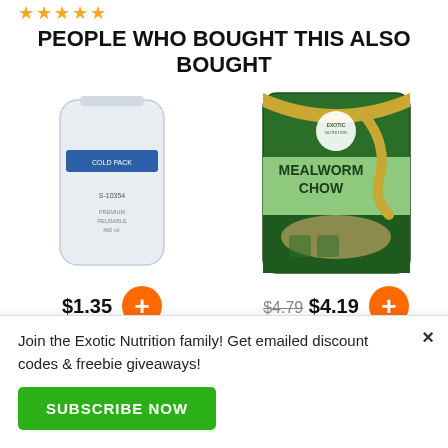[Figure (other): Five gold star rating icons]
PEOPLE WHO BOUGHT THIS ALSO BOUGHT
[Figure (photo): Cold pack 6 oz. product bag, white plastic bag with blue label]
[Figure (photo): Exotic Nutrition Mealworm Chow 1 lb. green product bag with mealworm imagery]
$1.35
$4.79 $4.19
Cold Pack 6 oz.
Mealworm Chow 1 lb.
Join the Exotic Nutrition family! Get emailed discount codes & freebie giveaways!
SUBSCRIBE NOW